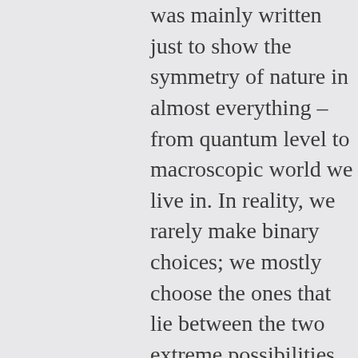was mainly written just to show the symmetry of nature in almost everything – from quantum level to macroscopic world we live in. In reality, we rarely make binary choices; we mostly choose the ones that lie between the two extreme possibilities. Thanks for commenting on my blog. Your suggestions are really valuable to me. I'll try